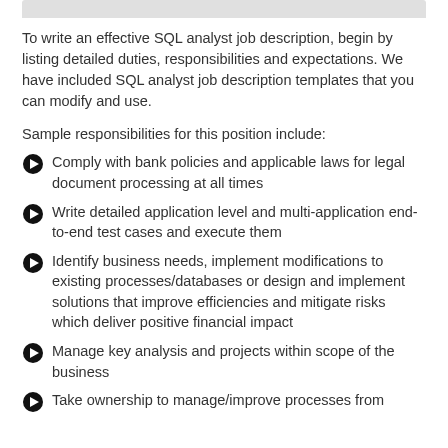To write an effective SQL analyst job description, begin by listing detailed duties, responsibilities and expectations. We have included SQL analyst job description templates that you can modify and use.
Sample responsibilities for this position include:
Comply with bank policies and applicable laws for legal document processing at all times
Write detailed application level and multi-application end-to-end test cases and execute them
Identify business needs, implement modifications to existing processes/databases or design and implement solutions that improve efficiencies and mitigate risks which deliver positive financial impact
Manage key analysis and projects within scope of the business
Take ownership to manage/improve processes from